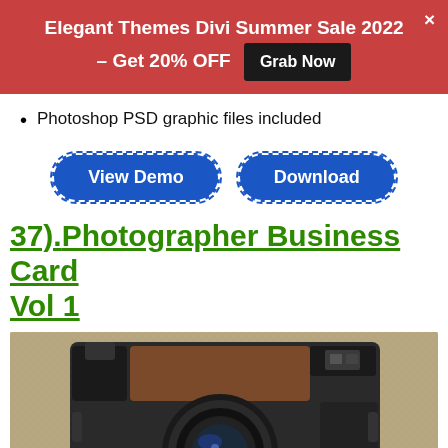Elegant Themes Divi Summer Sale 2022 – Get 20% OFF  Grab Now
Photoshop PSD graphic files included
[Figure (other): Two dashed-border blue buttons: 'View Demo' and 'Download']
37).Photographer Business Card Vol 1
[Figure (photo): Close-up photo of a vintage-style camera with a prominent circular lens, placed on a textured fabric/rug surface. Camera body appears dark with brown leather accents.]